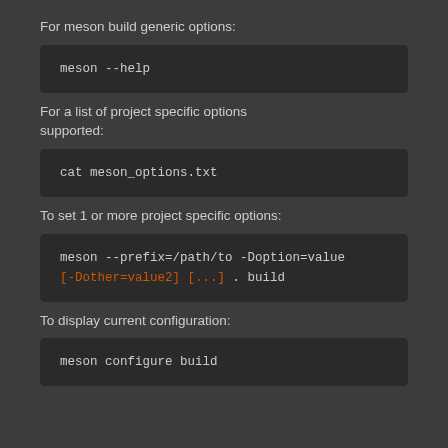For meson build generic options:
meson --help
For a list of project specific options supported:
cat meson_options.txt
To set 1 or more project specific options:
meson --prefix=/path/to -Doption=value [-Dother=value2] [...] . build
To display current configuration:
meson configure build